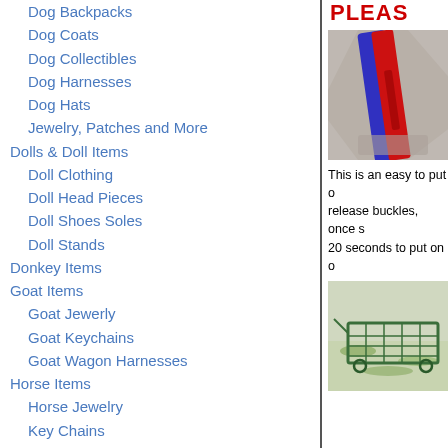Dog Backpacks
Dog Coats
Dog Collectibles
Dog Harnesses
Dog Hats
Jewelry, Patches and More
Dolls & Doll Items
Doll Clothing
Doll Head Pieces
Doll Shoes Soles
Doll Stands
Donkey Items
Goat Items
Goat Jewerly
Goat Keychains
Goat Wagon Harnesses
Horse Items
Horse Jewelry
Key Chains
Rat Items
Agility Equipment
Bags, Totes & Purses
Holiday Ornaments
Key Chains and other Kooool Stuff
PLEAS
[Figure (photo): Close-up photo of red and blue harness/strap product]
This is an easy to put o release buckles, once s 20 seconds to put on o
[Figure (photo): Photo of a green metal wagon or cart on grassy ground]